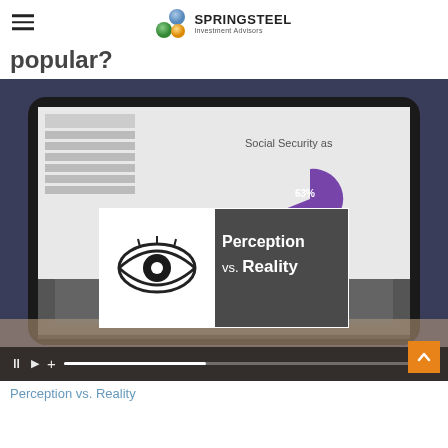SPRINGSTEEL Investment Advisors
popular?
[Figure (screenshot): Video screenshot showing a person holding a tablet displaying financial charts and a Social Security pie chart labeled 63%. An overlay card shows an eye icon and text reading 'Perception vs. Reality'. Video controls are visible at the bottom.]
Perception vs. Reality